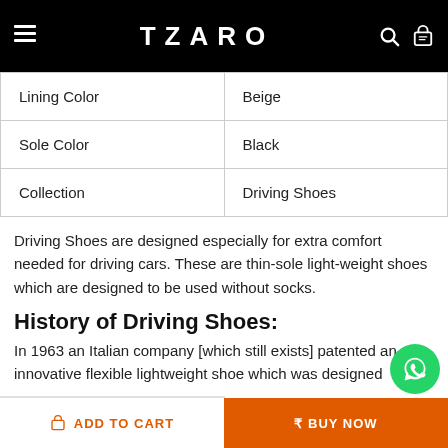TZARO
| Lining Color | Beige |
| Sole Color | Black |
| Collection | Driving Shoes |
Driving Shoes are designed especially for extra comfort needed for driving cars. These are thin-sole light-weight shoes which are designed to be used without socks.
History of Driving Shoes:
In 1963 an Italian company [which still exists] patented an innovative flexible lightweight shoe which was designed...